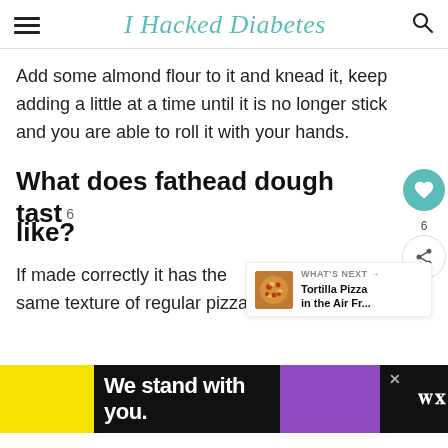I Hacked Diabetes
Add some almond flour to it and knead it, keep adding a little at a time until it is no longer stick and you are able to roll it with your hands.
What does fathead dough taste like?
If made correctly it has the same texture of regular pizza.
[Figure (screenshot): What's Next card showing Tortilla Pizza in the Air Fr... with a pizza thumbnail image]
[Figure (infographic): Advertisement banner at bottom: 'We stand with you.' on black background with yellow, purple sections and X close button]